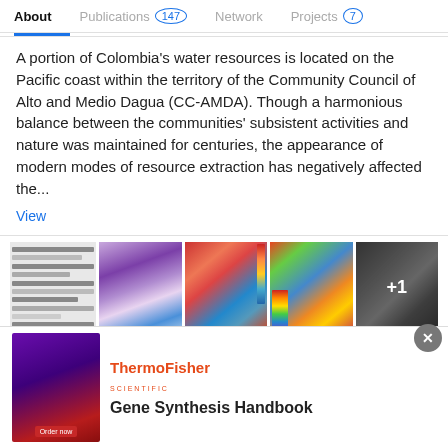About  Publications 147  Network  Projects 7
A portion of Colombia's water resources is located on the Pacific coast within the territory of the Community Council of Alto and Medio Dagua (CC-AMDA). Though a harmonious balance between the communities' subsistent activities and nature was maintained for centuries, the appearance of modern modes of resource extraction has negatively affected the...
View
[Figure (photo): Strip of five research images: a table/schematic diagram, a purple/violet geographic map, a red/blue heat map, a rainbow-colored map with bar charts, and a dark photo collage with +1 overlay]
Adapting to urban challenges in the Amazon: flood risk and infrastructure deficiencies in Belém, Brazil
Advertisement
[Figure (photo): ThermoFisher Scientific advertisement showing a lab researcher image on the left and Gene Synthesis Handbook text on the right with ThermoFisher Scientific logo]